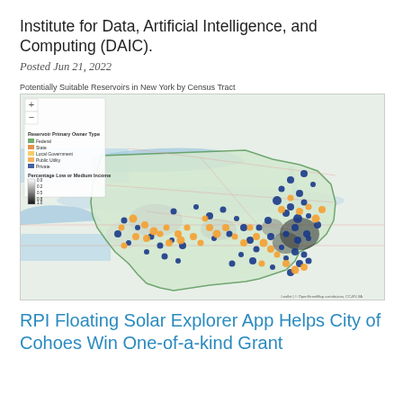Institute for Data, Artificial Intelligence, and Computing (DAIC).
Posted Jun 21, 2022
[Figure (map): Map titled 'Potentially Suitable Reservoirs in New York by Census Tract'. Shows New York State with colored dots representing reservoir primary owner types (Federal, State, Local Government, Public Utility, Private) overlaid on census tracts shaded by percentage low or medium income (0.0 to 1.0). Blue dots are concentrated in the eastern/Hudson Valley region, orange/yellow dots scattered across central and western NY, and the background shows roads and neighboring states.]
RPI Floating Solar Explorer App Helps City of Cohoes Win One-of-a-kind Grant